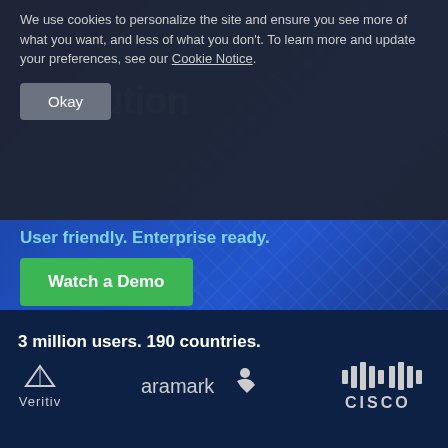We use cookies to personalize the site and ensure you see more of what you want, and less of what you don't. To learn more and update your preferences, see our Cookie Notice.
execution
Okay
User friendly. Enterprise ready.
Watch a Demo
3 million users. 190 countries.
[Figure (logo): Colliers International logo - white text on dark blue background]
[Figure (logo): Hilton hotel logo - circle H symbol with Hilton text]
[Figure (logo): World Vision logo - swoosh shape with World Vision text]
[Figure (logo): Veritiv logo - V chevron symbol with Veritiv text]
[Figure (logo): Aramark logo - aramark text with arrow/person symbol]
[Figure (logo): Cisco logo - vertical bars with CISCO text]